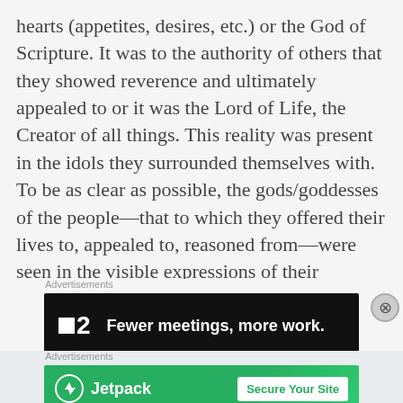hearts (appetites, desires, etc.) or the God of Scripture. It was to the authority of others that they showed reverence and ultimately appealed to or it was the Lord of Life, the Creator of all things. This reality was present in the idols they surrounded themselves with. To be as clear as possible, the gods/goddesses of the people—that to which they offered their lives to, appealed to, reasoned from—were seen in the visible expressions of their perspective culture.
Advertisements
[Figure (other): Dark advertisement banner for a product with logo showing a small square and '2', with text 'Fewer meetings, more work.']
Advertisements
[Figure (other): Green advertisement banner for Jetpack with logo and button 'Secure Your Site']